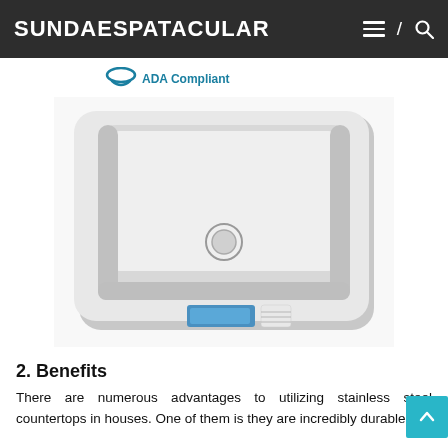SUNDAESPATACULAR
[Figure (logo): ADA Compliant badge with teal arc logo and bold text]
[Figure (photo): Stainless steel undermount single bowl kitchen sink viewed from above, showing drain hole and product label on the front]
2. Benefits
There are numerous advantages to utilizing stainless steel countertops in houses. One of them is they are incredibly durable